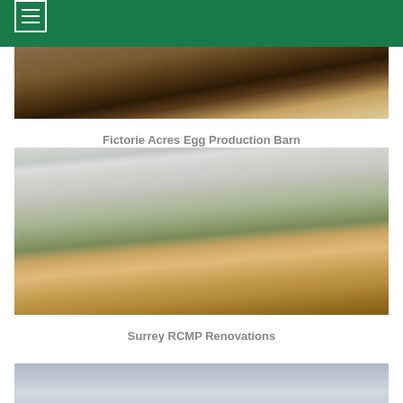[Figure (photo): Interior of Fictorie Acres Egg Production Barn showing wooden structures and equipment]
Fictorie Acres Egg Production Barn
[Figure (photo): Interior of Surrey RCMP building showing conference room with long table, chairs, and Surrey RCMP signage on wall]
Surrey RCMP Renovations
[Figure (photo): Partially visible photo showing sky and outdoor scene]